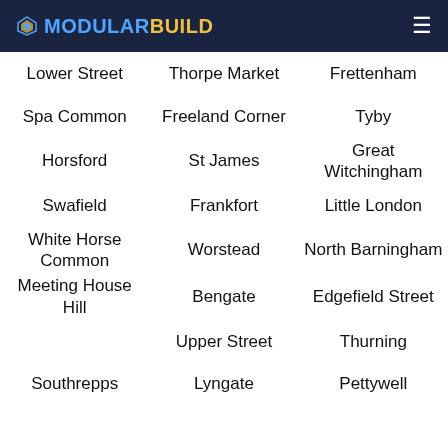MODULARBUILD
Lower Street
Thorpe Market
Frettenham
Spa Common
Freeland Corner
Tyby
Horsford
St James
Great Witchingham
Swafield
Frankfort
Little London
White Horse Common
Worstead
North Barningham
Meeting House Hill
Bengate
Edgefield Street
Upper Street
Thurning
Southrepps
Lyngate
Pettywell